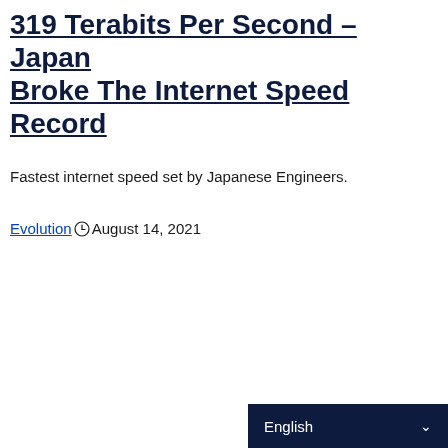319 Terabits Per Second – Japan Broke The Internet Speed Record
Fastest internet speed set by Japanese Engineers.
Evolution  August 14, 2021
English